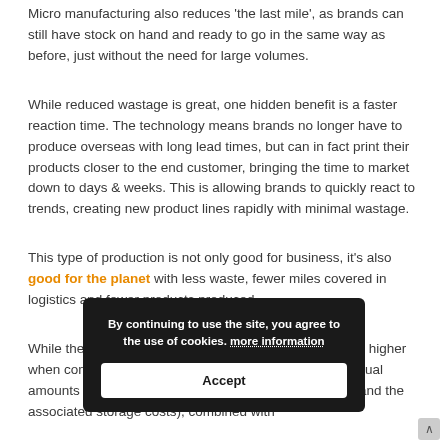Micro manufacturing also reduces 'the last mile', as brands can still have stock on hand and ready to go in the same way as before, just without the need for large volumes.
While reduced wastage is great, one hidden benefit is a faster reaction time. The technology means brands no longer have to produce overseas with long lead times, but can in fact print their products closer to the end customer, bringing the time to market down to days & weeks. This is allowing brands to quickly react to trends, creating new product lines rapidly with minimal wastage.
This type of production is not only good for business, it's also good for the planet with less waste, fewer miles covered in logistics and fewer products produced.
While the price of producing a small quantity is generally higher when compared to bulk orders for thousands of units, equal amounts are saved through avoiding excess inventory (and the associated storage costs), combined with